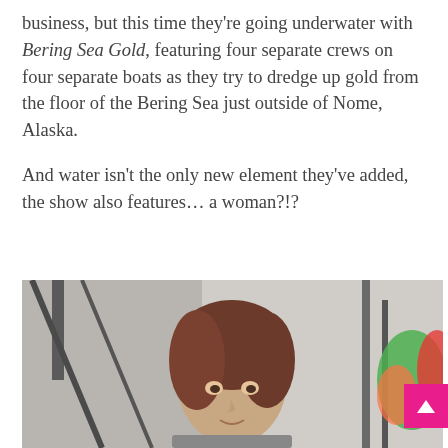business, but this time they're going underwater with Bering Sea Gold, featuring four separate crews on four separate boats as they try to dredge up gold from the floor of the Bering Sea just outside of Nome, Alaska.
And water isn't the only new element they've added, the show also features… a woman?!?
[Figure (photo): A woman with brown hair photographed outdoors with equipment and colorful gear visible in the background.]